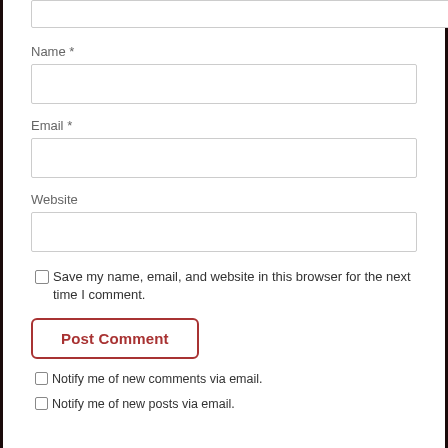Name *
[Figure (screenshot): Empty text input field for Name]
Email *
[Figure (screenshot): Empty text input field for Email]
Website
[Figure (screenshot): Empty text input field for Website]
Save my name, email, and website in this browser for the next time I comment.
Post Comment
Notify me of new comments via email.
Notify me of new posts via email.